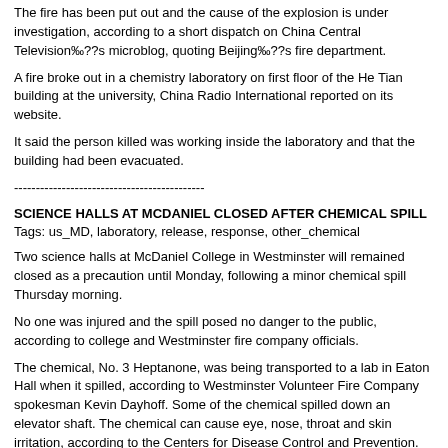The fire has been put out and the cause of the explosion is under investigation, according to a short dispatch on China Central Television‰??s microblog, quoting Beijing‰??s fire department.
A fire broke out in a chemistry laboratory on first floor of the He Tian building at the university, China Radio International reported on its website.
It said the person killed was working inside the laboratory and that the building had been evacuated.
--------------------------------------------
SCIENCE HALLS AT MCDANIEL CLOSED AFTER CHEMICAL SPILL
Tags: us_MD, laboratory, release, response, other_chemical
Two science halls at McDaniel College in Westminster will remained closed as a precaution until Monday, following a minor chemical spill Thursday morning.
No one was injured and the spill posed no danger to the public, according to college and Westminster fire company officials.
The chemical, No. 3 Heptanone, was being transported to a lab in Eaton Hall when it spilled, according to Westminster Volunteer Fire Company spokesman Kevin Dayhoff. Some of the chemical spilled down an elevator shaft. The chemical can cause eye, nose, throat and skin irritation, according to the Centers for Disease Control and Prevention.
The person involved in the incident was evaluated by paramedics at the scene, but was not transported for treatment, according to Dayhoff.
Upon arriving at the scene around 9:10 a.m. Thursday, emergency personnel evacuated the building, Dayhoff said. The county's Hazardous Materials team cleared the building by 11:15 a.m.